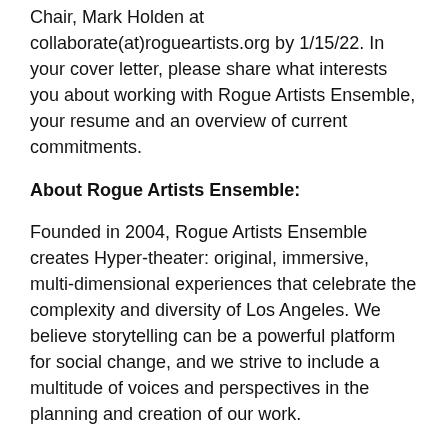Chair, Mark Holden at collaborate(at)rogueartists.org by 1/15/22. In your cover letter, please share what interests you about working with Rogue Artists Ensemble, your resume and an overview of current commitments.
About Rogue Artists Ensemble:
Founded in 2004, Rogue Artists Ensemble creates Hyper-theater: original, immersive, multi-dimensional experiences that celebrate the complexity and diversity of Los Angeles. We believe storytelling can be a powerful platform for social change, and we strive to include a multitude of voices and perspectives in the planning and creation of our work.
We are dedicated to building brave spaces for conversation, undergoing biannual inclusivity assessments and a commitment to equitable hiring practices. Rogue is currently developing an immersive theater app and exploring stories about a closeted stuntperson and the history of the sideshow.
Rogue Lab now in its third season is our playwright development incubator and helps to inspire the creation of new impossible plays. Many of our programs are offered for free and impact over 5,000 community members annually.